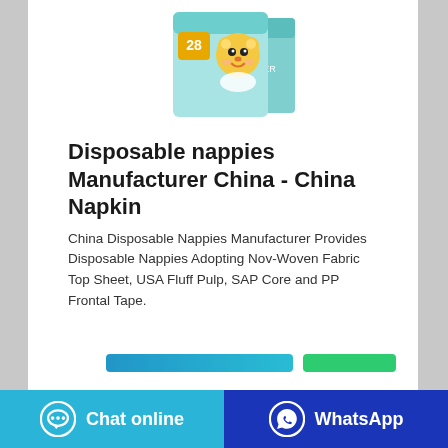[Figure (photo): Product image of a disposable nappies box showing a cartoon bear character with '28' count label, teal/turquoise colored packaging]
Disposable nappies Manufacturer China - China Napkin
China Disposable Nappies Manufacturer Provides Disposable Nappies Adopting Nov-Woven Fabric Top Sheet, USA Fluff Pulp, SAP Core and PP Frontal Tape.
[Figure (screenshot): Chat online button (blue/teal gradient) and WhatsApp button (green) partially visible]
Chat online | WhatsApp